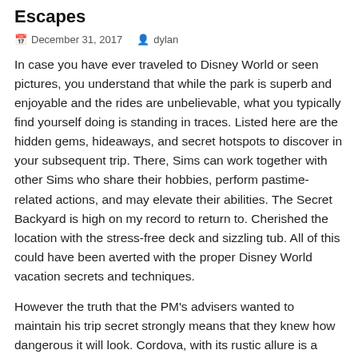Escapes
December 31, 2017   dylan
In case you have ever traveled to Disney World or seen pictures, you understand that while the park is superb and enjoyable and the rides are unbelievable, what you typically find yourself doing is standing in traces. Listed here are the hidden gems, hideaways, and secret hotspots to discover in your subsequent trip. There, Sims can work together with other Sims who share their hobbies, perform pastime-related actions, and may elevate their abilities. The Secret Backyard is high on my record to return to. Cherished the location with the stress-free deck and sizzling tub. All of this could have been averted with the proper Disney World vacation secrets and techniques.
However the truth that the PM's advisers wanted to maintain his trip secret strongly means that they knew how dangerous it will look. Cordova, with its rustic allure is a should see